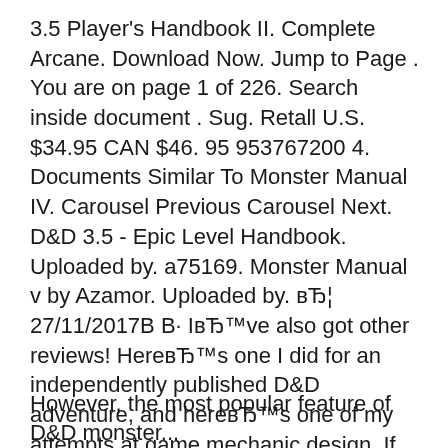3.5 Player's Handbook II. Complete Arcane. Download Now. Jump to Page . You are on page 1 of 226. Search inside document . Sug. Retall U.S. $34.95 CAN $46. 95 953767200 4. Documents Similar To Monster Manual IV. Carousel Previous Carousel Next. D&D 3.5 - Epic Level Handbook. Uploaded by. a75169. Monster Manual v by Azamor. Uploaded by. вЂ¦ 27/11/2017В В· IвЂ™ve also got other reviews! HereвЂ™s one I did for an independently published D&D adventure, and hereвЂ™s one of my attempts at game mechanic design. If neither of those suit your fancy, hereвЂ™s a list article I did about awesome monsters in the D&D monster manual (and how to use them).
However, the most popular feature of D&D monster...